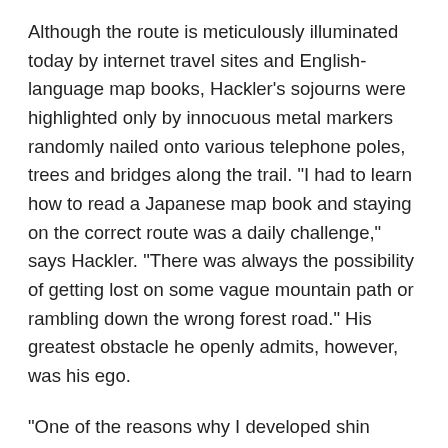Although the route is meticulously illuminated today by internet travel sites and English-language map books, Hackler’s sojourns were highlighted only by innocuous metal markers randomly nailed onto various telephone poles, trees and bridges along the trail. “I had to learn how to read a Japanese map book and staying on the correct route was a daily challenge,” says Hackler. “There was always the possibility of getting lost on some vague mountain path or rambling down the wrong forest road.” His greatest obstacle he openly admits, however, was his ego.
“One of the reasons why I developed shin splints is that sometimes I tried to walk as fast as other henro on the trail,” remembers Hackler. “I had to keep telling myself that this pilgrimage was for me. It’s not to show that I am faster than someone else or more capable. I didn’t listen, and I ended up